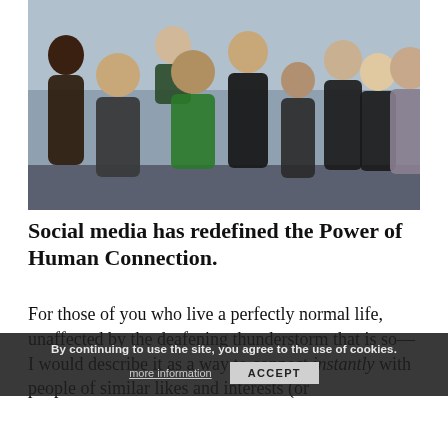[Figure (photo): Group photo of approximately 11 people standing together in front of a banner/backdrop at what appears to be a conference or event. Mixed group of men and women.]
Social media has redefined the Power of Human Connection.
For those of you who live a perfectly normal life, unaffected by the deafening thunderstorm that is so— I would describe it as a way to connect instantly with people of similar likes and interests (or
By continuing to use the site, you agree to the use of cookies. more information  ACCEPT